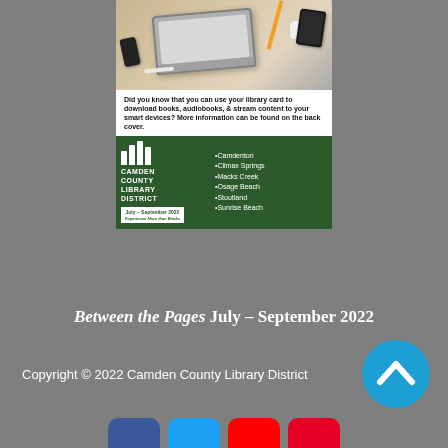[Figure (illustration): Camden County Library District newsletter cover for July-September 2022. Top portion shows a desk with laptop, phone, mouse, and tablet on a wood surface. White text banner reads: 'Did you know that you can use your library card to download books, audiobooks, & stream content to your smart devices? More information can be found on the back cover.' Green bottom section shows the Camden County Library District logo with bar-chart icon, a white date badge reading 'July - September 2022 / Experience More than Books', and a bullet list of branches: Camdenton, Climax Springs, Macks Creek, Osage Beach, Stoutland, Sunrise Beach.]
Between the Pages July – September 2022
Copyright © 2022 Camden County Library District
[Figure (other): Blue circular button with upward-pointing chevron/arrow icon]
[Figure (other): Row of four social media icon buttons (partially visible): Facebook (blue), Twitter (light blue), YouTube (red), Pinterest (red)]